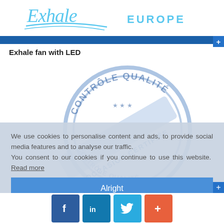[Figure (logo): Exhale Europe logo in light blue cursive/script font with 'EUROPE' text]
Exhale fan with LED
[Figure (illustration): Blue circular quality control stamp with French text 'CONTRÔLE QUALITÉ' and 'OCCASION CERTIFIÉE', with stars, partially visible]
We use cookies to personalise content and ads, to provide social media features and to analyse our traffic.
You consent to our cookies if you continue to use this website. Read more
Alright
[Figure (infographic): Social media icons bar: Facebook (f), LinkedIn (in), Twitter bird, and a red plus button]